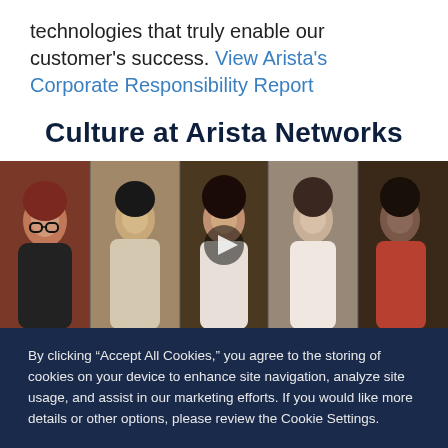technologies that truly enable our customer's success. View Arista's Corporate Responsibility Report
Culture at Arista Networks
[Figure (photo): Video thumbnail showing five smiling employees side-by-side with a play button overlay in the center]
By clicking “Accept All Cookies,” you agree to the storing of cookies on your device to enhance site navigation, analyze site usage, and assist in our marketing efforts. If you would like more details or other options, please review the Cookie Settings.